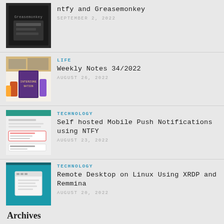ntfy and Greasemonkey — SEPTEMBER 2, 2022
LIFE — Weekly Notes 34/2022 — AUGUST 26, 2022
TECHNOLOGY — Self hosted Mobile Push Notifications using NTFY — AUGUST 23, 2022
TECHNOLOGY — Remote Desktop on Linux Using XRDP and Remmina — AUGUST 20, 2022
Archives